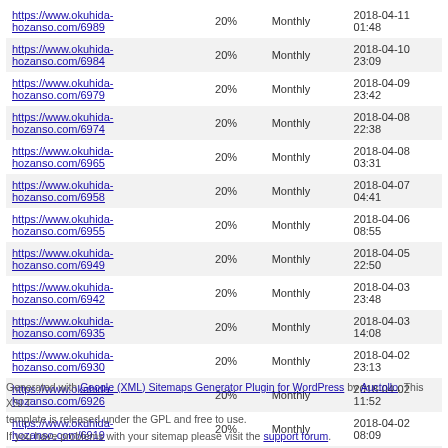| https://www.okuhida-hozanso.com/6989 | 20% | Monthly | 2018-04-11 01:48 |
| https://www.okuhida-hozanso.com/6984 | 20% | Monthly | 2018-04-10 23:09 |
| https://www.okuhida-hozanso.com/6979 | 20% | Monthly | 2018-04-09 23:42 |
| https://www.okuhida-hozanso.com/6974 | 20% | Monthly | 2018-04-08 22:38 |
| https://www.okuhida-hozanso.com/6965 | 20% | Monthly | 2018-04-08 03:31 |
| https://www.okuhida-hozanso.com/6958 | 20% | Monthly | 2018-04-07 04:41 |
| https://www.okuhida-hozanso.com/6955 | 20% | Monthly | 2018-04-06 08:55 |
| https://www.okuhida-hozanso.com/6949 | 20% | Monthly | 2018-04-05 22:50 |
| https://www.okuhida-hozanso.com/6942 | 20% | Monthly | 2018-04-03 23:48 |
| https://www.okuhida-hozanso.com/6935 | 20% | Monthly | 2018-04-03 14:08 |
| https://www.okuhida-hozanso.com/6930 | 20% | Monthly | 2018-04-02 23:13 |
| https://www.okuhida-hozanso.com/6926 | 20% | Monthly | 2018-04-02 11:52 |
| https://www.okuhida-hozanso.com/6919 | 20% | Monthly | 2018-04-02 08:09 |
| https://www.okuhida-hozanso.com/6911 | 20% | Monthly | 2018-04-01 22:58 |
Generated with Google (XML) Sitemaps Generator Plugin for WordPress by Auctollo. This XSLT template is released under the GPL and free to use.
If you have problems with your sitemap please visit the support forum.